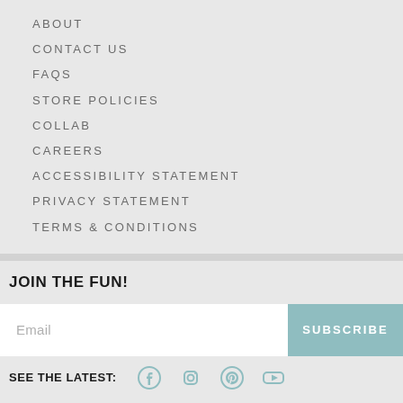ABOUT
CONTACT US
FAQS
STORE POLICIES
COLLAB
CAREERS
ACCESSIBILITY STATEMENT
PRIVACY STATEMENT
TERMS & CONDITIONS
JOIN THE FUN!
Email
SUBSCRIBE
SEE THE LATEST: